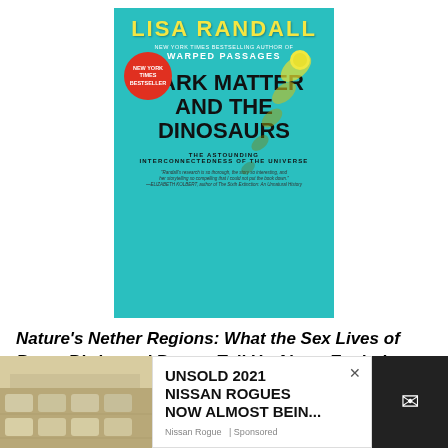[Figure (photo): Book cover of 'Dark Matter and the Dinosaurs' by Lisa Randall. Teal/turquoise background with large bold title text, author name in yellow, a comet illustration, and a red circular New York Times Bestseller badge.]
Nature's Nether Regions: What the Sex Lives of Bugs, Birds, and Beasts Tell Us About Evolution, Biodiversity, and Ourselves by Menno Schilthuizen
[Figure (photo): Advertisement overlay: Cars parked in a lot photo on left, white ad popup reading 'UNSOLD 2021 NISSAN ROGUES NOW ALMOST BEIN...' with a close X button, and a dark email icon box on the right.]